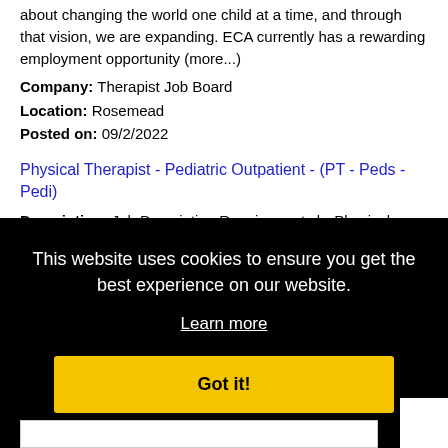about changing the world one child at a time, and through that vision, we are expanding. ECA currently has a rewarding employment opportunity (more...)
Company: Therapist Job Board
Location: Rosemead
Posted on: 09/2/2022
Physical Therapist - Pediatric Outpatient - (PT - Peds - Pedi)
Description: Job Description Requirements br Physical Therapist - Pediatric Outpatient - PT - Peds - Pedi br StartDate: ASAP Available Shifts: 8 D Pay Rate: 1700.00 - 1800.00 br br Well respected skilled (more...)
This website uses cookies to ensure you get the best experience on our website.
Learn more
Got it!